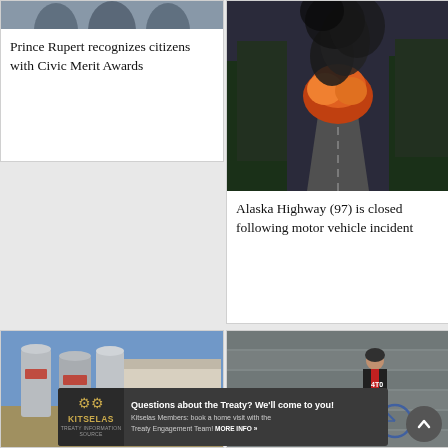[Figure (photo): Group photo of people at an awards ceremony]
Prince Rupert recognizes citizens with Civic Merit Awards
[Figure (photo): Large fire and black smoke on Alaska Highway with road visible]
Alaska Highway (97) is closed following motor vehicle incident
[Figure (photo): Person sitting near large grain silos on a farm]
[Figure (photo): Person in red vest standing with bicycle loaded with gear]
[Figure (other): Kitselas Treaty advertisement banner: Questions about the Treaty? We'll come to you! Kitselas Members: book a home visit with the Treaty Engagement Team! MORE INFO »]